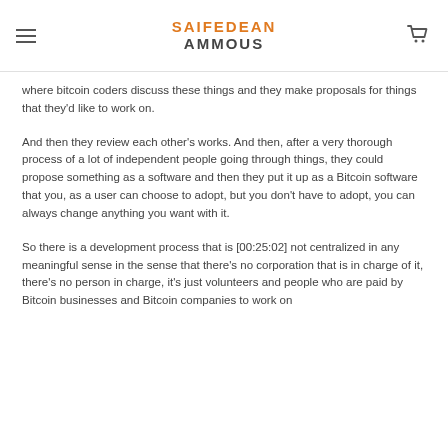SAIFEDEAN AMMOUS
where bitcoin coders discuss these things and they make proposals for things that they'd like to work on.
And then they review each other's works. And then, after a very thorough process of a lot of independent people going through things, they could propose something as a software and then they put it up as a Bitcoin software that you, as a user can choose to adopt, but you don't have to adopt, you can always change anything you want with it.
So there is a development process that is [00:25:02] not centralized in any meaningful sense in the sense that there's no corporation that is in charge of it, there's no person in charge, it's just volunteers and people who are paid by Bitcoin businesses and Bitcoin companies to work on